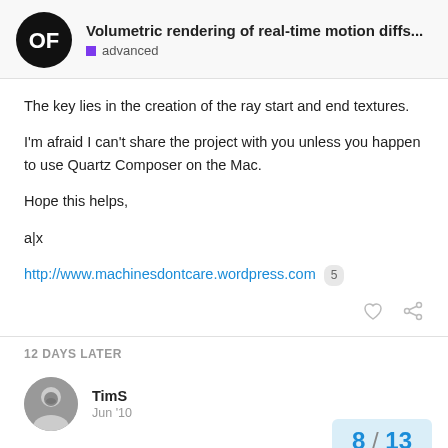Volumetric rendering of real-time motion diffs... | advanced
The key lies in the creation of the ray start and end textures.
I'm afraid I can't share the project with you unless you happen to use Quartz Composer on the Mac.
Hope this helps,
a|x
http://www.machinesdontcare.wordpress.com 5
12 DAYS LATER
TimS  Jun '10
Hi toneburst,
8 / 13